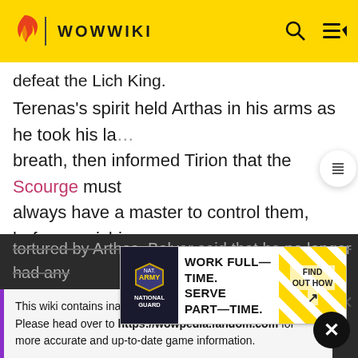WOWWIKI
defeat the Lich King.
Terenas's spirit held Arthas in his arms as he took his last breath, then informed Tirion that the Scourge must always have a master to control them, before vanishing in the wind. Tirion picked up the Lich King's crown and
This wiki contains inaccurate and out-of-date information. Please head over to https://wowpedia.fandom.com for more accurate and up-to-date game information.
[Figure (infographic): Army National Guard advertisement: WORK FULL-TIME. SERVE PART-TIME. FIND OUT HOW]
tortured by Arthas. Bolvar said that he no longer had any place in the world of the living, nor any duties to perform. As his final act of service, Bolvar would take the powers of the Lich King himself, in order to keep the damned in check. Tirion reluctantly placed the crown of